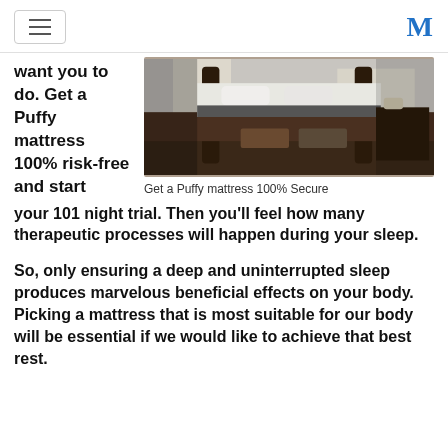[hamburger menu] [M logo]
want you to do. Get a Puffy mattress 100% risk-free and start your 101 night trial. Then you'll feel how many therapeutic processes will happen during your sleep.
[Figure (photo): A four-poster bed with dark wood frame, white bedding, and decorative pillows in a bedroom setting]
Get a Puffy mattress 100% Secure
So, only ensuring a deep and uninterrupted sleep produces marvelous beneficial effects on your body. Picking a mattress that is most suitable for our body will be essential if we would like to achieve that best rest.